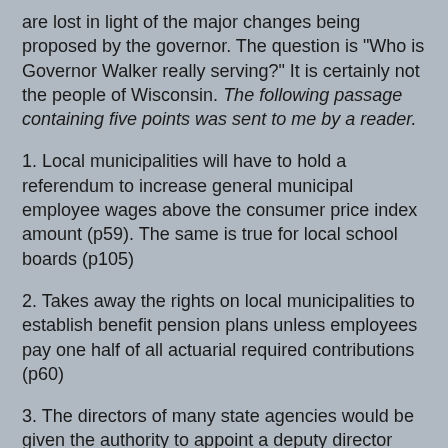are lost in light of the major changes being proposed by the governor. The question is "Who is Governor Walker really serving?" It is certainly not the people of Wisconsin. The following passage containing five points was sent to me by a reader.
1. Local municipalities will have to hold a referendum to increase general municipal employee wages above the consumer price index amount (p59). The same is true for local school boards (p105)
2. Takes away the rights on local municipalities to establish benefit pension plans unless employees pay one half of all actuarial required contributions (p60)
3. The directors of many state agencies would be given the authority to appoint a deputy director (p108) or an executive assistant. If they all appoint a deputy director, it will be more jobs for “friends and supporters” at a much higher cost to taxpayers.
4. Creates rules that allow “an appointing authority may reassign an employee in a career executive position to…